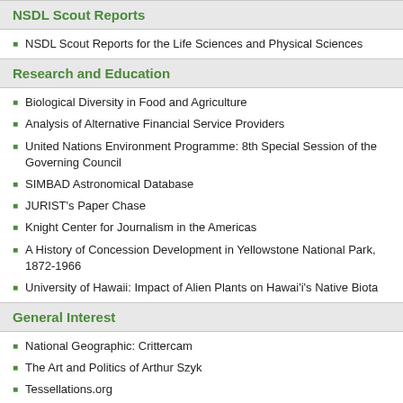NSDL Scout Reports
NSDL Scout Reports for the Life Sciences and Physical Sciences
Research and Education
Biological Diversity in Food and Agriculture
Analysis of Alternative Financial Service Providers
United Nations Environment Programme: 8th Special Session of the Governing Council
SIMBAD Astronomical Database
JURIST's Paper Chase
Knight Center for Journalism in the Americas
A History of Concession Development in Yellowstone National Park, 1872-1966
University of Hawaii: Impact of Alien Plants on Hawai'i's Native Biota
General Interest
National Geographic: Crittercam
The Art and Politics of Arthur Szyk
Tessellations.org